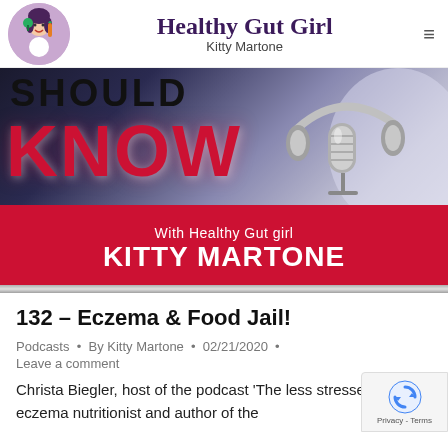Healthy Gut Girl / Kitty Martone
[Figure (illustration): Website banner showing 'SHOULD KNOW' text with 'KNOW' in large red letters, microphone and headphones on the right, and a red bar at the bottom reading 'With Healthy Gut girl KITTY MARTONE']
132 – Eczema & Food Jail!
Podcasts · By Kitty Martone · 02/21/2020 · Leave a comment
Christa Biegler, host of the podcast 'The less stressed life', eczema nutritionist and author of the